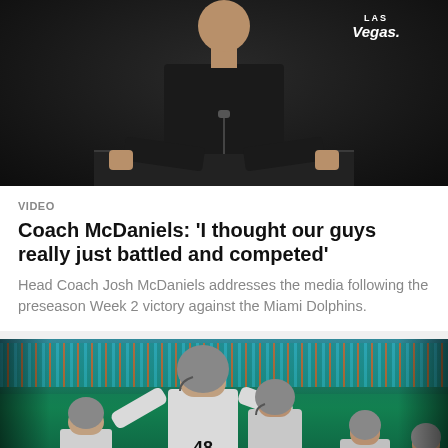[Figure (photo): Man in dark jacket standing at a Las Vegas Raiders podium during a press conference]
VIDEO
Coach McDaniels: 'I thought our guys really just battled and competed'
Head Coach Josh McDaniels addresses the media following the preseason Week 2 victory against the Miami Dolphins.
[Figure (photo): Las Vegas Raiders players including #48 and #46 celebrating on the field against the Miami Dolphins, with player #36 BOLTON and #59 visible, play button overlay in center]